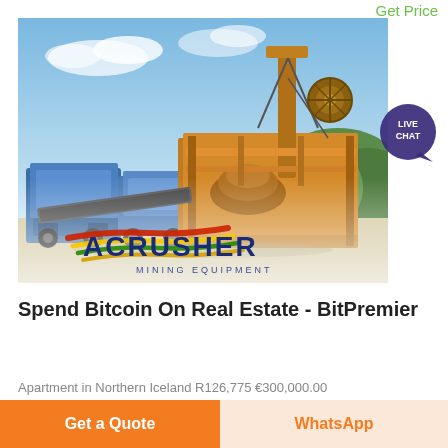Get Price
[Figure (photo): Mining equipment / crusher machinery photo with ACrusher Mining Equipment logo overlay]
Spend Bitcoin On Real Estate - BitPremier
Apartment in Northern Iceland R126,775 €300,000.00
Get a Quote
WhatsApp